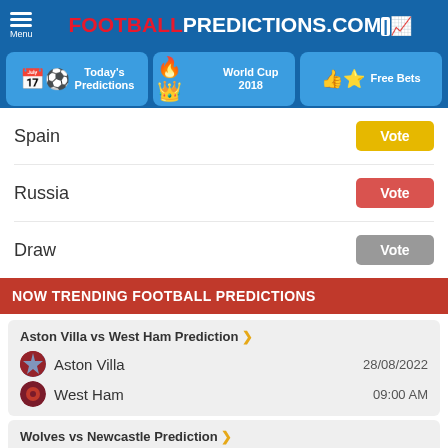FOOTBALLPREDICTIONS.COM
Today's Predictions
World Cup 2018
Free Bets
Spain — Vote
Russia — Vote
Draw — Vote
NOW TRENDING FOOTBALL PREDICTIONS
Aston Villa vs West Ham Prediction >
Aston Villa 28/08/2022
West Ham 09:00 AM
Wolves vs Newcastle Prediction >
Wolves 28/08/2022
Newcastle 09:00 AM
Nottingham Forest vs Tottenham Prediction >